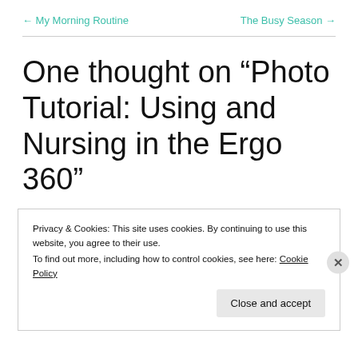← My Morning Routine    The Busy Season →
One thought on “Photo Tutorial: Using and Nursing in the Ergo 360”
Privacy & Cookies: This site uses cookies. By continuing to use this website, you agree to their use.
To find out more, including how to control cookies, see here: Cookie Policy
Close and accept